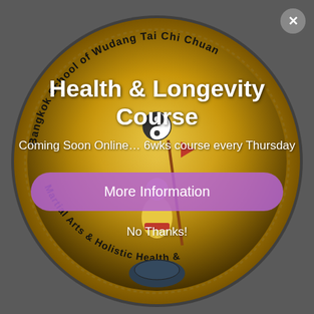[Figure (logo): Circular seal of Bangkok School of Wudang Tai Chi Chuan, Martial Arts & Holistic Health, with yin-yang symbol and martial arts figure on a golden background]
Health & Longevity Course
Coming Soon Online… 6wks course every Thursday
More Information
No Thanks!